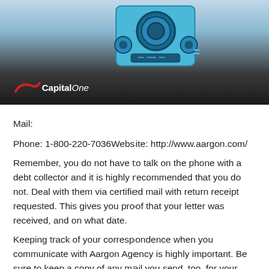[Figure (illustration): Capital One branded banner image showing a safe/vault illustration in blue tones with Capital One logo at bottom left on dark background]
Mail:
Phone: 1-800-220-7036Website: http://www.aargon.com/
Remember, you do not have to talk on the phone with a debt collector and it is highly recommended that you do not. Deal with them via certified mail with return receipt requested. This gives you proof that your letter was received, and on what date.
Keeping track of your correspondence when you communicate with Aargon Agency is highly important. Be sure to keep a copy of any mail you send, too, for your